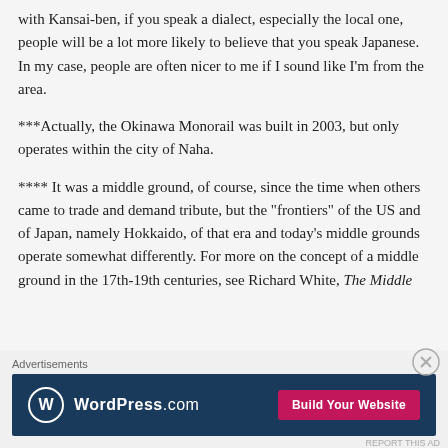with Kansai-ben, if you speak a dialect, especially the local one, people will be a lot more likely to believe that you speak Japanese. In my case, people are often nicer to me if I sound like I'm from the area.
***Actually, the Okinawa Monorail was built in 2003, but only operates within the city of Naha.
**** It was a middle ground, of course, since the time when others came to trade and demand tribute, but the "frontiers" of the US and of Japan, namely Hokkaido, of that era and today's middle grounds operate somewhat differently. For more on the concept of a middle ground in the 17th-19th centuries, see Richard White, The Middle
Advertisements
[Figure (other): WordPress.com advertisement banner with logo and 'Build Your Website' button]